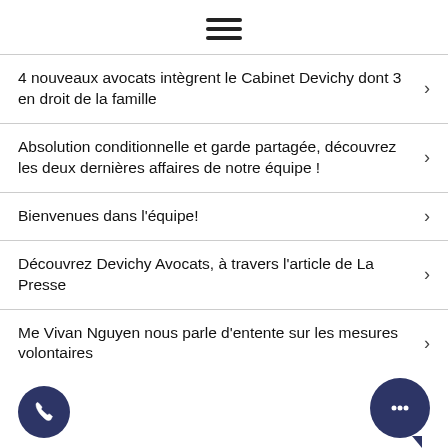≡
4 nouveaux avocats intègrent le Cabinet Devichy dont 3 en droit de la famille
Absolution conditionnelle et garde partagée, découvrez les deux dernières affaires de notre équipe !
Bienvenues dans l'équipe!
Découvrez Devichy Avocats, à travers l'article de La Presse
Me Vivan Nguyen nous parle d'entente sur les mesures volontaires